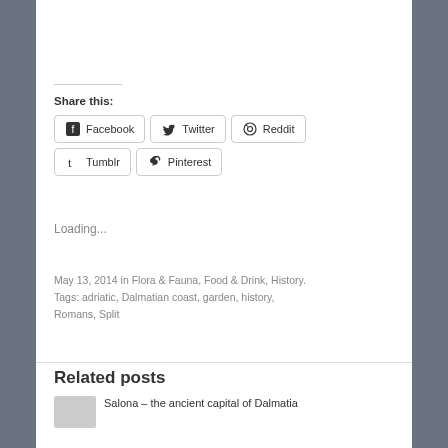Share this:
Facebook
Twitter
Reddit
Tumblr
Pinterest
Loading...
May 13, 2014 in Flora & Fauna, Food & Drink, History. Tags: adriatic, Dalmatian coast, garden, history, Romans, Split
Related posts
Salona – the ancient capital of Dalmatia